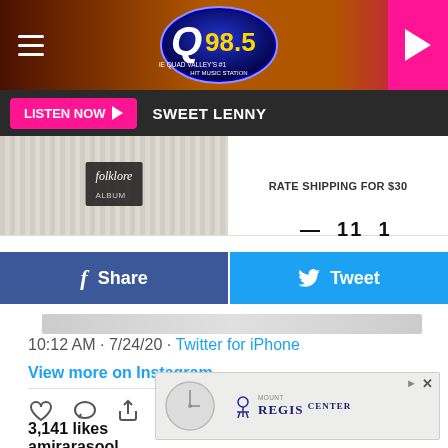Q98.5 radio station header with hamburger menu, logo, and play button
LISTEN NOW ► SWEET LENNY
[Figure (photo): Partial image of Taylor Swift folklore album knit sweater/beanie with 'folklore album' badge label, and rate shipping for $30 text, and social share numbers]
f Share
🐦 Tweet
10:12 AM · 7/24/20 · Twitter for iPhone
View more on Instagram
3,141 likes
amirarasool
This r #Tayl ew all...
[Figure (advertisement): Mount Regis Center advertisement with clock graphic and logo]